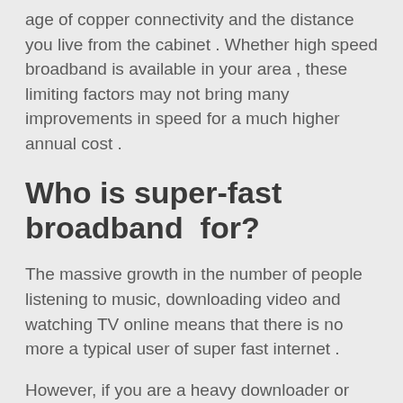age of copper connectivity and the distance you live from the cabinet . Whether high speed broadband is available in your area , these limiting factors may not bring many improvements in speed for a much higher annual cost .
Who is super-fast broadband  for?
The massive growth in the number of people listening to music, downloading video and watching TV online means that there is no more a typical user of super fast internet .
However, if you are a heavy downloader or are one of the increasing number of consumers who